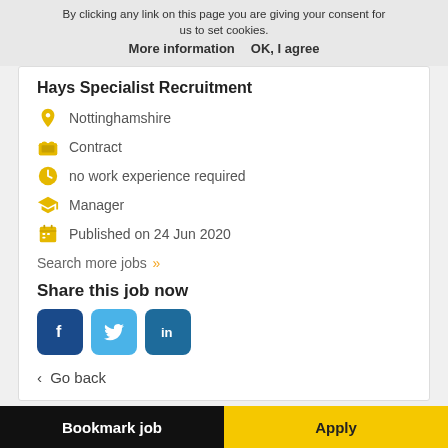By clicking any link on this page you are giving your consent for us to set cookies. More information   OK, I agree
Hays Specialist Recruitment
Nottinghamshire
Contract
no work experience required
Manager
Published on 24 Jun 2020
Search more jobs »
Share this job now
[Figure (other): Social sharing buttons: Facebook (f), Twitter bird icon, LinkedIn (in)]
< Go back
Bookmark job    Apply